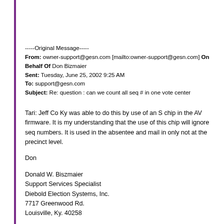-----Original Message-----
From: owner-support@gesn.com [mailto:owner-support@gesn.com] On Behalf Of Don Bizmaier
Sent: Tuesday, June 25, 2002 9:25 AM
To: support@gesn.com
Subject: Re: question : can we count all seq # in one vote center
Tari: Jeff Co Ky was able to do this by use of an S chip in the AV firmware. It is my understanding that the use of this chip will ignore seq numbers. It is used in the absentee and mail in only not at the precinct level.
Don
Donald W. Biszmaier
Support Services Specialist
Diebold Election Systems, Inc.
7717 Greenwood Rd.
Louisville, Ky. 40258